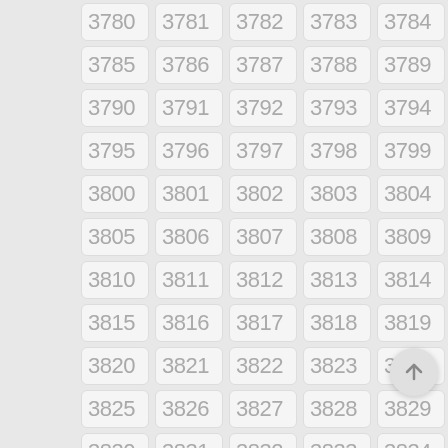3780 3781 3782 3783 3784
3785 3786 3787 3788 3789
3790 3791 3792 3793 3794
3795 3796 3797 3798 3799
3800 3801 3802 3803 3804
3805 3806 3807 3808 3809
3810 3811 3812 3813 3814
3815 3816 3817 3818 3819
3820 3821 3822 3823 3824
3825 3826 3827 3828 3829
3830 3831 3832 3833 3834